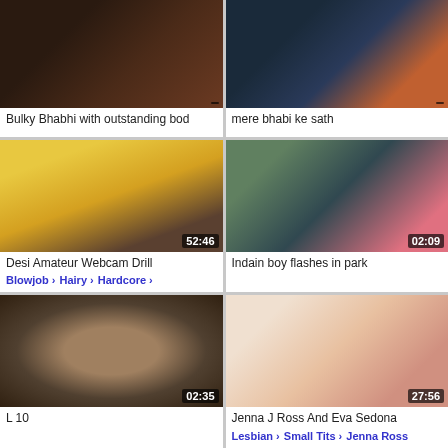[Figure (screenshot): Video thumbnail - dark bedroom scene]
Bulky Bhabhi with outstanding bod
[Figure (screenshot): Video thumbnail - indoor scene]
mere bhabi ke sath
[Figure (screenshot): Video thumbnail 52:46 - man in yellow shirt]
Desi Amateur Webcam Drill
Blowjob >   Hairy >   Hardcore >
[Figure (screenshot): Video thumbnail 02:09 - outdoor pink dress scene]
Indain boy flashes in park
[Figure (screenshot): Video thumbnail 02:35 - couple outdoors]
L 10
[Figure (screenshot): Video thumbnail 27:56 - woman in floral dress]
Jenna J Ross And Eva Sedona
Lesbian >   Small Tits >   Jenna Ross
[Figure (screenshot): Video thumbnail 06:17 - partial view]
[Figure (screenshot): Video thumbnail 00:18 - close up face]